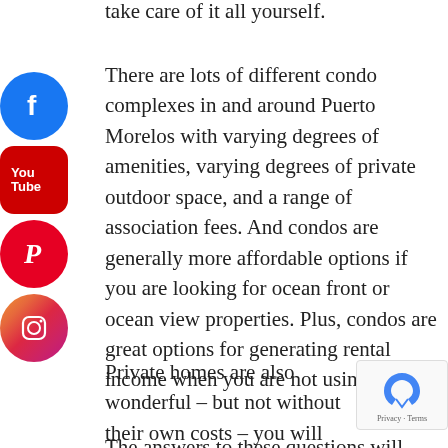take care of it all yourself.

There are lots of different condo complexes in and around Puerto Morelos with varying degrees of amenities, varying degrees of private outdoor space, and a range of association fees. And condos are generally more affordable options if you are looking for ocean front or ocean view properties. Plus, condos are great options for generating rental income when you are not using them.

Private homes are also wonderful – but not without their own costs – you will pay a gardener, pool guy, property manager. Lots to consider!

The answers to these questions will help you
[Figure (logo): Facebook social media icon - blue circle with white 'f']
[Figure (logo): YouTube social media icon - red rounded rectangle with 'You Tube' text]
[Figure (logo): Pinterest social media icon - red circle with white 'P' logo]
[Figure (logo): Instagram social media icon - gradient circle with camera outline]